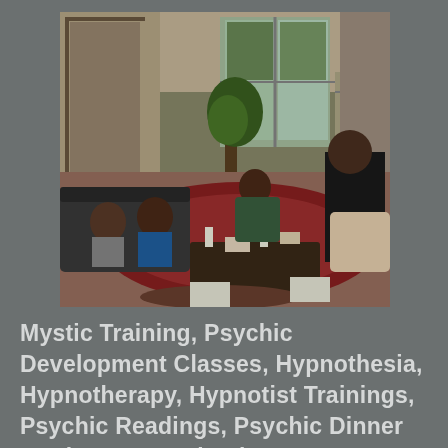[Figure (photo): Indoor gathering scene showing several people seated on sofas and chairs in a living room with decorative rugs, plants, candles on a coffee table, and large windows showing trees outside. People appear to be at a spiritual or psychic development class session.]
Mystic Training, Psychic Development Classes, Hypnothesia, Hypnotherapy, Hypnotist Trainings, Psychic Readings, Psychic Dinner Parties, Moon Rituals, Past